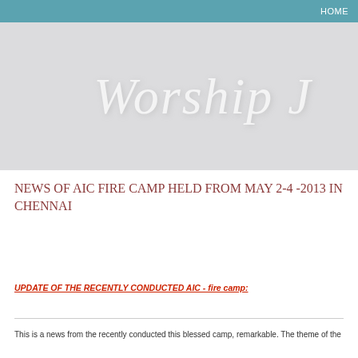HOME
[Figure (illustration): Light grey banner with large italic white/translucent text reading 'Worship J' (partially cropped) on a grey background, serving as a website header banner.]
NEWS OF AIC FIRE CAMP HELD FROM MAY 2-4 -2013 IN CHENNAI
UPDATE OF THE RECENTLY CONDUCTED AIC - fire camp:
This is a news from the recently conducted this blessed camp, remarkable. The theme of the...